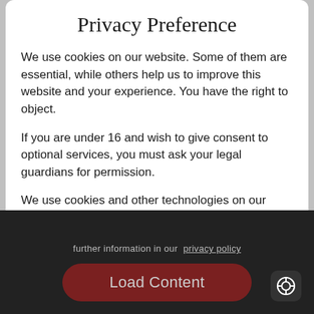Privacy Preference
We use cookies on our website. Some of them are essential, while others help us to improve this website and your experience. You have the right to object.
If you are under 16 and wish to give consent to optional services, you must ask your legal guardians for permission.
We use cookies and other technologies on our website. Some of them are essential, while others help us to improve this website and your experience. Personal data may be processed (e.g. IP addresses), for example for personalized ads and content or ad and content measurement. You can find more information about the use of your data in our
Essential (checked)
Statistics (unchecked)
further information in our [privacy policy]
Load Content